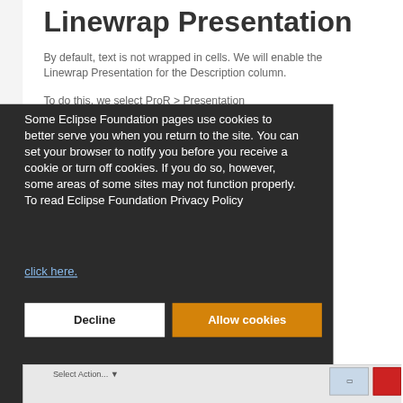Linewrap Presentation
By default, text is not wrapped in cells. We will enable the Linewrap Presentation for the Description column.
To do this, we select ProR > Presentation
Some Eclipse Foundation pages use cookies to better serve you when you return to the site. You can set your browser to notify you before you receive a cookie or turn off cookies. If you do so, however, some areas of some sites may not function properly. To read Eclipse Foundation Privacy Policy
click here.
Decline
Allow cookies